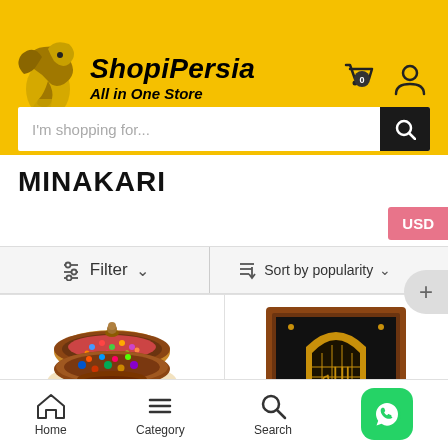[Figure (logo): ShopiPersia logo with bird icon on yellow background, text 'ShopiPersia All in One Store']
I'm shopping for...
MINAKARI
USD
Filter
Sort by popularity
[Figure (photo): Minakari decorative lidded bowl with enamel artwork, colorful floral pattern on copper]
[Figure (photo): Minakari framed artwork with golden Islamic calligraphy on dark background in wooden frame]
Home
Category
Search